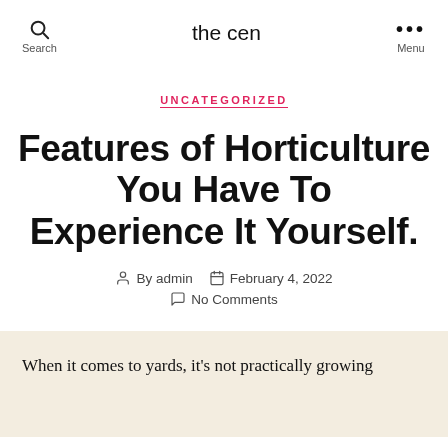the cen | Search | Menu
UNCATEGORIZED
Features of Horticulture You Have To Experience It Yourself.
By admin  February 4, 2022  No Comments
When it comes to yards, it's not practically growing